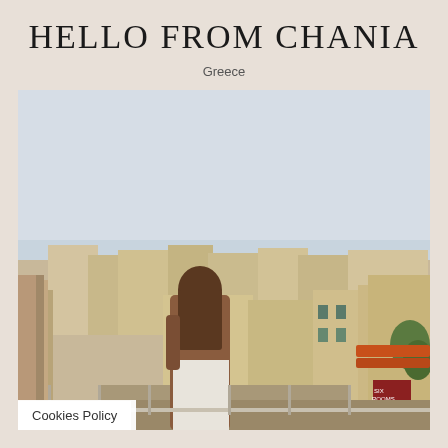HELLO FROM CHANIA
Greece
[Figure (photo): A woman with long brown hair stands on a rooftop balcony overlooking the colorful buildings and streets of Chania, Greece. She is wearing a brown top and white pants and faces away from the camera toward the cityscape.]
Cookies Policy